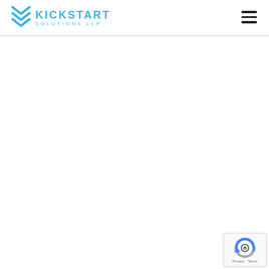Kickstart Solutions LLP
[Figure (logo): Kickstart Solutions LLP logo with blue chevron icon and blue text reading KICKSTART SOLUTIONS LLP]
[Figure (other): Hamburger menu icon (three horizontal black lines) in the top right corner of the header]
[Figure (other): Google reCAPTCHA badge in the bottom right corner showing reCAPTCHA icon and Privacy - Terms text]